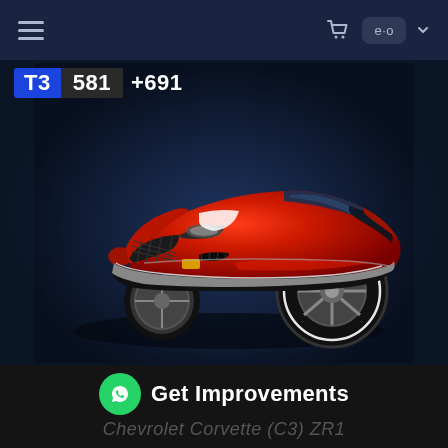Navigation bar with hamburger menu, cart icon, badge showing e-o, and dropdown arrow
T3 581 +691
[Figure (photo): A red classic Chevrolet Corvette (C3) ZR1 sports car rendered in 3D, viewed from a front three-quarter angle, on a dark navy blue background. The car has prominent large rear tyres, chrome front bumper and grille, and a bold red body with black interior.]
Get Improvements
Chevrolet Corvette (C3) ZR1